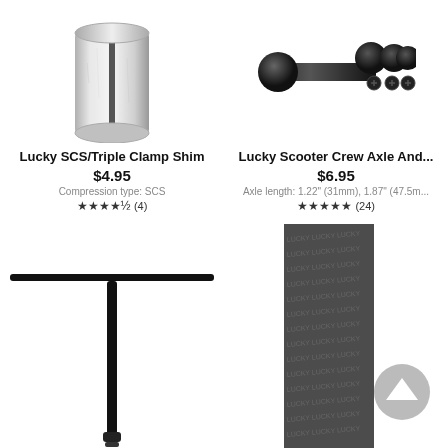[Figure (photo): Silver metal cylindrical shim with a vertical slot, for SCS/Triple clamp compression]
Lucky SCS/Triple Clamp Shim
$4.95
Compression type: SCS
★★★★½ (4)
[Figure (photo): Black metal axle and hardware components with screws, for Lucky Scooter Crew]
Lucky Scooter Crew Axle And...
$6.95
Axle length: 1.22" (31mm), 1.87" (47.5m...
★★★★★ (24)
[Figure (photo): Black T-bar handlebar for a scooter, shown vertically]
[Figure (photo): Dark grey grip tape with repeated Lucky branding text pattern]